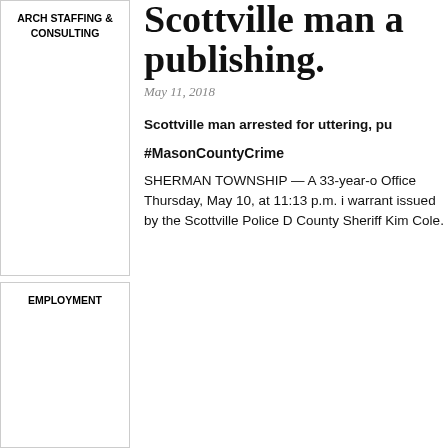ARCH STAFFING & CONSULTING
EMPLOYMENT
Scottville man a publishing.
May 11, 2018
Scottville man arrested for uttering, pu
#MasonCountyCrime
SHERMAN TOWNSHIP — A 33-year-o Office Thursday, May 10, at 11:13 p.m. i warrant issued by the Scottville Police D County Sheriff Kim Cole.